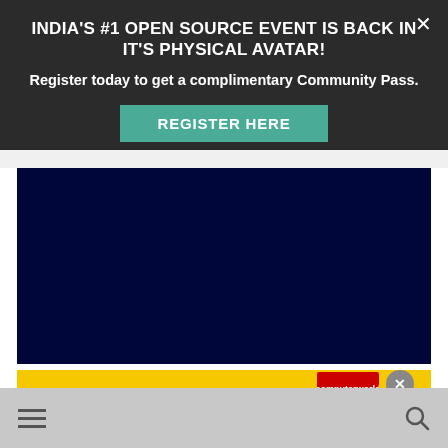INDIA'S #1 OPEN SOURCE EVENT IS BACK IN IT'S PHYSICAL AVATAR!
Register today to get a complimentary Community Pass.
REGISTER HERE
[Figure (other): Dark navy blue rectangle, appears to be a video or image placeholder]
[Figure (other): Yellow advertisement strip with Computerworld Express magazine badge visible at bottom of page]
Navigation bar with hamburger menu and search icon